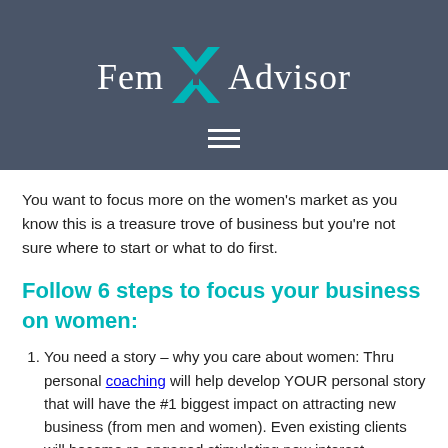[Figure (logo): FemX Advisor logo with teal X graphic and hamburger menu icon on dark gray background]
You want to focus more on the women's market as you know this is a treasure trove of business but you're not sure where to start or what to do first.
Follow 6 steps to focus your business on women:
You need a story – why you care about women: Thru personal coaching will help develop YOUR personal story that will have the #1 biggest impact on attracting new business (from men and women). Even existing clients will become re-engaged stimulating new interest, referrals and business.